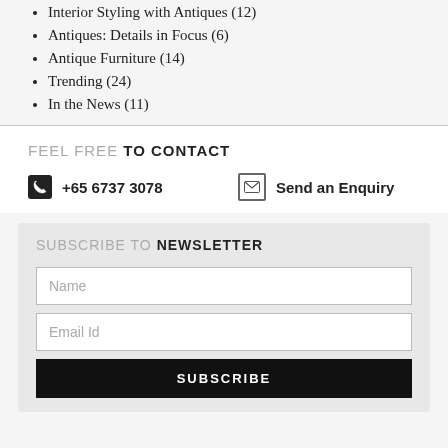Interior Styling with Antiques (12)
Antiques: Details in Focus (6)
Antique Furniture (14)
Trending (24)
In the News (11)
FEEL FREE TO CONTACT
+65 6737 3078
Send an Enquiry
SUBSCRIBE TO NEWSLETTER
Name
Email Id
SUBSCRIBE